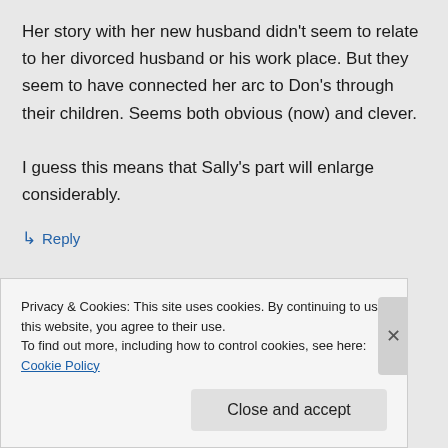Her story with her new husband didn't seem to relate to her divorced husband or his work place. But they seem to have connected her arc to Don's through their children. Seems both obvious (now) and clever.

I guess this means that Sally's part will enlarge considerably.
↳ Reply
Privacy & Cookies: This site uses cookies. By continuing to use this website, you agree to their use.
To find out more, including how to control cookies, see here: Cookie Policy
Close and accept